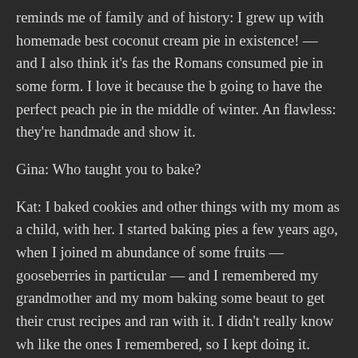reminds me of family and of history: I grew up with homemade best coconut cream pie in existence! — and I also think it's fas the Romans consumed pie in some form. I love it because the b going to have the perfect peach pie in the middle of winter. An flawless: they're handmade and show it.
Gina: Who taught you to bake?
Kat: I baked cookies and other things with my mom as a child, with her. I started baking pies a few years ago, when I joined m abundance of some fruits — gooseberries in particular — and I remembered my grandmother and my mom baking some beaut to get their crust recipes and ran with it. I didn't really know wh like the ones I remembered, so I kept doing it.
Gina: When did you start Piety Bakery and what are your hope
Kat: I started working on piety in fall of 2009. I competed in a a few events and around the holidays. This year, I'm working o